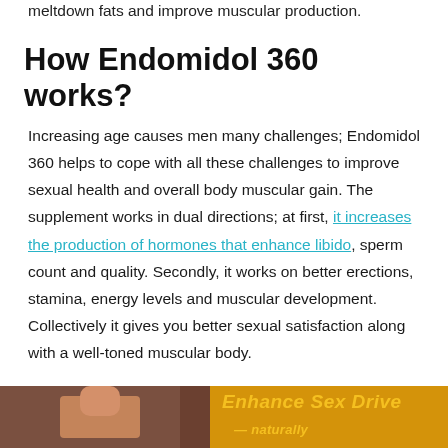meltdown fats and improve muscular production.
How Endomidol 360 works?
Increasing age causes men many challenges; Endomidol 360 helps to cope with all these challenges to improve sexual health and overall body muscular gain. The supplement works in dual directions; at first, it increases the production of hormones that enhance libido, sperm count and quality. Secondly, it works on better erections, stamina, energy levels and muscular development. Collectively it gives you better sexual satisfaction along with a well-toned muscular body.
[Figure (photo): Banner image showing a person with text 'Enhance Sex Drive' in yellow on a gold/dark background]